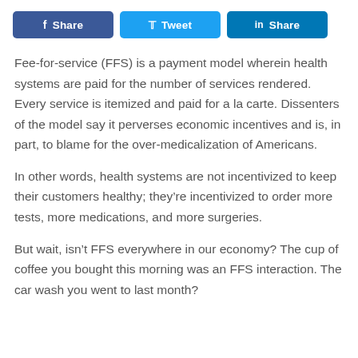[Figure (other): Social sharing buttons: Facebook Share, Twitter Tweet, LinkedIn Share]
Fee-for-service (FFS) is a payment model wherein health systems are paid for the number of services rendered. Every service is itemized and paid for a la carte. Dissenters of the model say it perverses economic incentives and is, in part, to blame for the over-medicalization of Americans.
In other words, health systems are not incentivized to keep their customers healthy; they're incentivized to order more tests, more medications, and more surgeries.
But wait, isn't FFS everywhere in our economy? The cup of coffee you bought this morning was an FFS interaction. The car wash you went to last month?